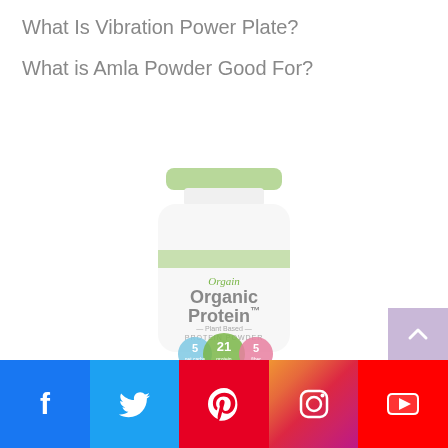What Is Vibration Power Plate?
What is Amla Powder Good For?
[Figure (photo): Orgain Organic Protein Plant Based Protein Powder container with green cap and label showing 5g net carbs, 21g protein, 5g fiber badges]
Facebook | Twitter | Pinterest | Instagram | YouTube social share buttons